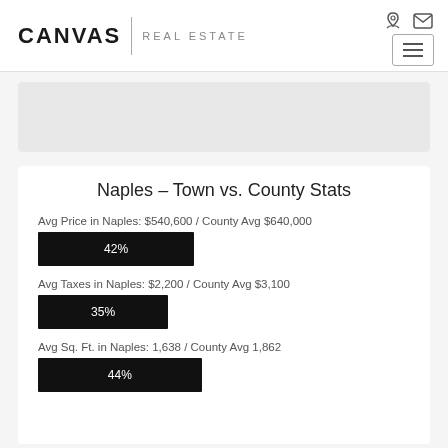CANVAS REAL ESTATE
Naples - Town vs. County Stats
Avg Price in Naples: $540,600 / County Avg $640,000
[Figure (bar-chart): Avg Price in Naples]
Avg Taxes in Naples: $2,200 / County Avg $3,100
[Figure (bar-chart): Avg Taxes in Naples]
Avg Sq. Ft. in Naples: 1,638 / County Avg 1,862
[Figure (bar-chart): Avg Sq. Ft. in Naples]